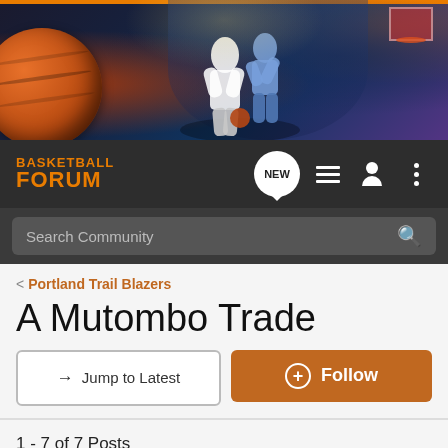[Figure (photo): Basketball forum banner with basketball and players on a dark blue/orange background]
BASKETBALL FORUM
Search Community
< Portland Trail Blazers
A Mutombo Trade
→ Jump to Latest
+ Follow
1 - 7 of 7 Posts
Sir I Gotta Go · Registered
Joined Jul 7, 2002 · 920 Posts